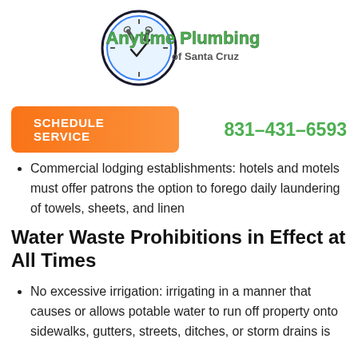[Figure (logo): Anytime Plumbing of Santa Cruz logo — circular clock icon with plumbing wrenches, green stylized text 'Anytime Plumbing' and 'of Santa Cruz' in gray]
SCHEDULE SERVICE
831-431-6593
Commercial lodging establishments: hotels and motels must offer patrons the option to forego daily laundering of towels, sheets, and linen
Water Waste Prohibitions in Effect at All Times
No excessive irrigation: irrigating in a manner that causes or allows potable water to run off property onto sidewalks, gutters, streets, ditches, or storm drains is